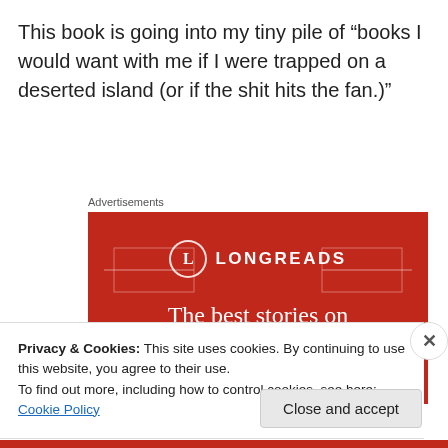This book is going into my tiny pile of “books I would want with me if I were trapped on a deserted island (or if the shit hits the fan.)”
Advertisements
[Figure (logo): Longreads advertisement banner with red background showing the Longreads logo (L in a circle) and text 'The best stories on the web – ours and']
Privacy & Cookies: This site uses cookies. By continuing to use this website, you agree to their use.
To find out more, including how to control cookies, see here: Cookie Policy
Close and accept